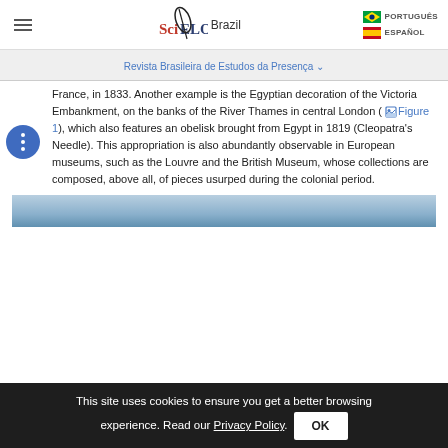SciELO Brazil | PORTUGUÊS | ESPAÑOL
Revista Brasileira de Estudos da Presença
France, in 1833. Another example is the Egyptian decoration of the Victoria Embankment, on the banks of the River Thames in central London (Figure 1), which also features an obelisk brought from Egypt in 1819 (Cleopatra's Needle). This appropriation is also abundantly observable in European museums, such as the Louvre and the British Museum, whose collections are composed, above all, of pieces usurped during the colonial period.
[Figure (photo): Partial view of an image, likely the Victoria Embankment or an Egyptian monument, appearing as a blue-toned strip at the bottom of the content area.]
This site uses cookies to ensure you get a better browsing experience. Read our Privacy Policy. OK